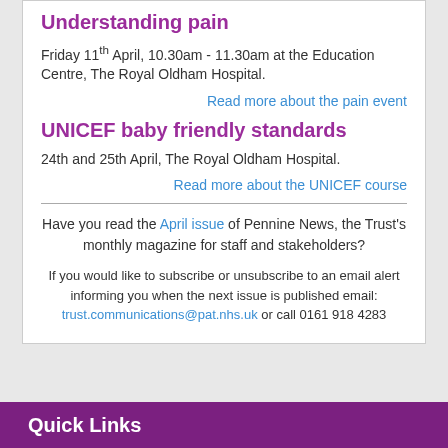Understanding pain
Friday 11th April, 10.30am - 11.30am at the Education Centre, The Royal Oldham Hospital.
Read more about the pain event
UNICEF baby friendly standards
24th and 25th April, The Royal Oldham Hospital.
Read more about the UNICEF course
Have you read the April issue of Pennine News, the Trust's monthly magazine for staff and stakeholders?
If you would like to subscribe or unsubscribe to an email alert informing you when the next issue is published email: trust.communications@pat.nhs.uk or call 0161 918 4283
Quick Links